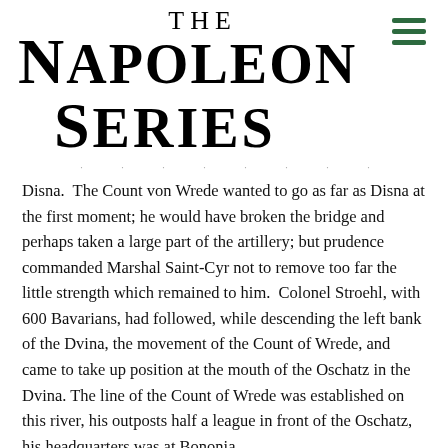THE NAPOLEON SERIES
Disna.  The Count von Wrede wanted to go as far as Disna at the first moment; he would have broken the bridge and perhaps taken a large part of the artillery; but prudence commanded Marshal Saint-Cyr not to remove too far the little strength which remained to him.  Colonel Stroehl, with 600 Bavarians, had followed, while descending the left bank of the Dvina, the movement of the Count of Wrede, and came to take up position at the mouth of the Oschatz in the Dvina. The line of the Count of Wrede was established on this river, his outposts half a league in front of the Oschatz, his headquarters was at Bononia.